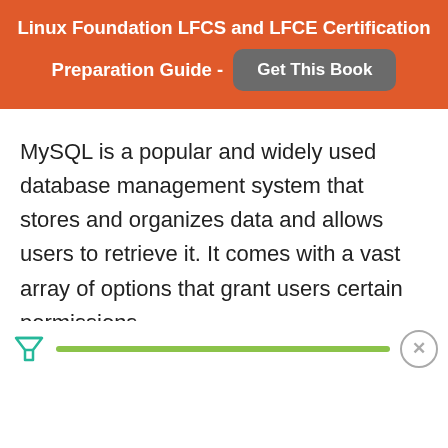Linux Foundation LFCS and LFCE Certification Preparation Guide - Get This Book
MySQL is a popular and widely used database management system that stores and organizes data and allows users to retrieve it. It comes with a vast array of options that grant users certain permissions
[Figure (other): Advertisement bar with a green progress/loading bar, a funnel icon on the left, and a close (X) button on the right]